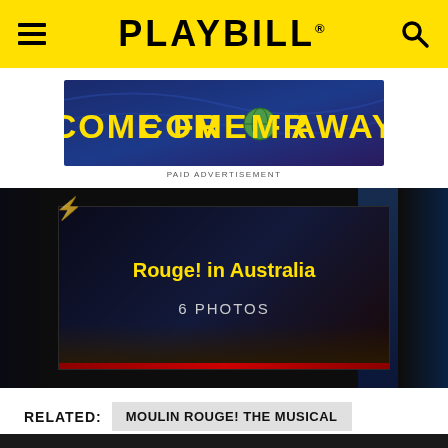PLAYBILL
[Figure (illustration): Come From Away musical advertisement banner with yellow text on dark blue background]
PAID ADVERTISEMENT
[Figure (photo): Rouge! in Australia - 6 PHOTOS gallery thumbnail showing a theatrical stage with dark lighting]
RELATED: MOULIN ROUGE! THE MUSICAL